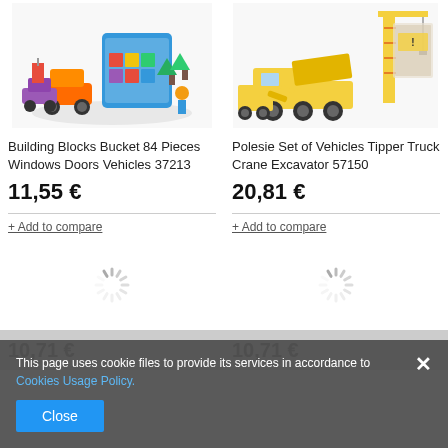[Figure (photo): Building Blocks Bucket toy product image showing colorful blocks, vehicles, trees and road signs]
[Figure (photo): Polesie Set of Vehicles product image showing yellow tipper truck, crane and excavator construction vehicles]
Building Blocks Bucket 84 Pieces Windows Doors Vehicles 37213
Polesie Set of Vehicles Tipper Truck Crane Excavator 57150
11,55 €
20,81 €
+ Add to compare
+ Add to compare
[Figure (other): Loading spinner icon]
[Figure (other): Loading spinner icon]
This page uses cookie files to provide its services in accordance to Cookies Usage Policy.
Close
10,71 €
10,71 €